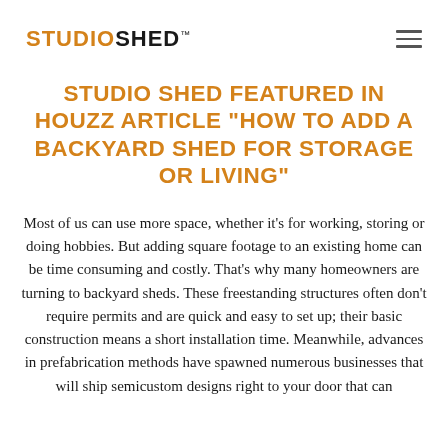STUDIOSHED™
STUDIO SHED FEATURED IN HOUZZ ARTICLE “HOW TO ADD A BACKYARD SHED FOR STORAGE OR LIVING”
Most of us can use more space, whether it’s for working, storing or doing hobbies. But adding square footage to an existing home can be time consuming and costly. That’s why many homeowners are turning to backyard sheds. These freestanding structures often don’t require permits and are quick and easy to set up; their basic construction means a short installation time. Meanwhile, advances in prefabrication methods have spawned numerous businesses that will ship semicustom designs right to your door that can